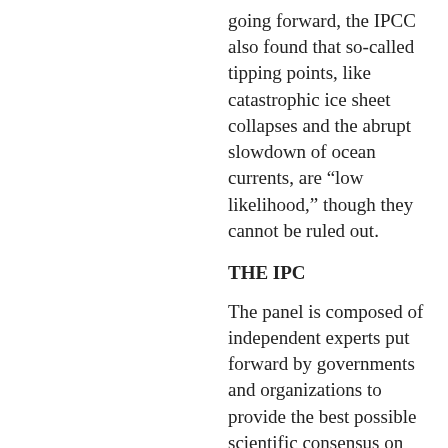going forward, the IPCC also found that so-called tipping points, like catastrophic ice sheet collapses and the abrupt slowdown of ocean currents, are “low likelihood,” though they cannot be ruled out.
THE IPC
The panel is composed of independent experts put forward by governments and organizations to provide the best possible scientific consensus on climate change.